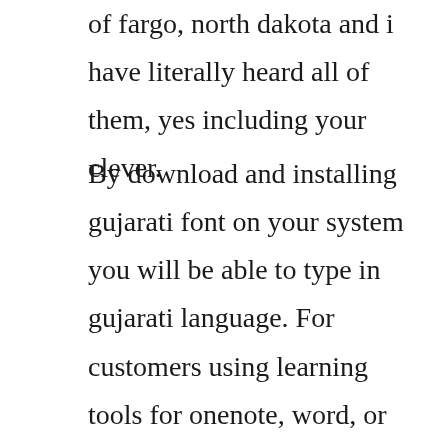of fargo, north dakota and i have literally heard all of them, yes including your clever.
By download and installing gujarati font on your system you will be able to type in gujarati language. For customers using learning tools for onenote, word, or read aloud in the microsoft edge browser, this article documents ways to download new languages for the textto speech feature in different versions of windows. An involved process, typography includes selecting point size, typefaces, kerning, and leading, as well as the